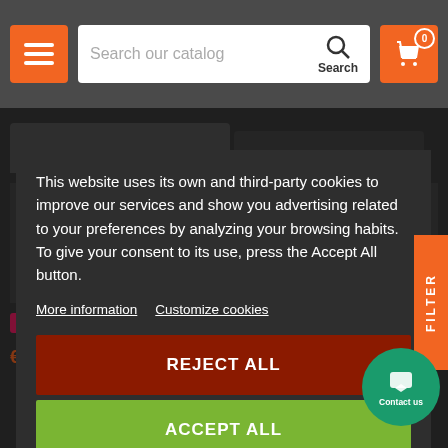[Figure (screenshot): E-commerce website header with orange menu button, search bar with 'Search our catalog' placeholder, search icon and label, and orange cart button with 0 badge]
This website uses its own and third-party cookies to improve our services and show you advertising related to your preferences by analyzing your browsing habits. To give your consent to its use, press the Accept All button.
More information   Customize cookies
REJECT ALL
ACCEPT ALL
Out-of-Stock
€1,075.63
Out-of-Stock
€915.97
Contact us